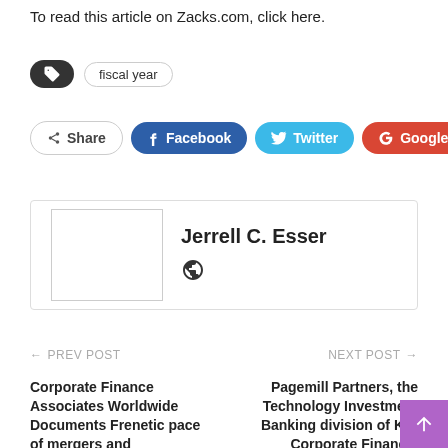To read this article on Zacks.com, click here.
fiscal year
Share  Facebook  Twitter  Google+  +
[Figure (other): Author card for Jerrell C. Esser with placeholder avatar image and globe icon]
← PREV POST
NEXT POST →
Corporate Finance Associates Worldwide Documents Frenetic pace of mergers and
Pagemill Partners, the Technology Investment Banking division of Kro Corporate Finance,